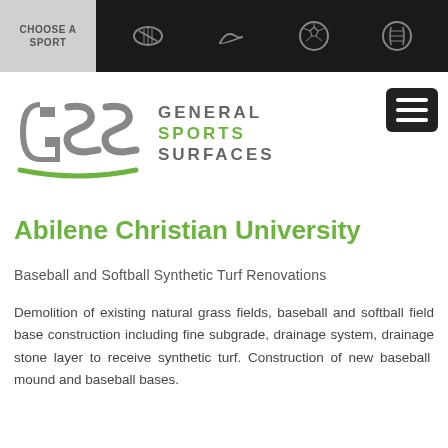CHOOSE A SPORT
[Figure (logo): General Sports Surfaces (GSS) logo with grey GSS lettering in arc shape and green text reading GENERAL SPORTS SURFACES]
Abilene Christian University
Baseball and Softball Synthetic Turf Renovations
Demolition of existing natural grass fields, baseball and softball field base construction including fine subgrade, drainage system, drainage stone layer to receive synthetic turf. Construction of new baseball mound and baseball bases.